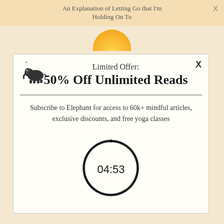An Explanation of Letting Go that I'm Holding On To
[Figure (illustration): Yellow/orange sun semicircle graphic behind modal]
[Figure (logo): Elephant Journal logo - small elephant silhouette with asterisk]
Limited Offer:
50% Off Unlimited Reads
Subscribe to Elephant for access to 60k+ mindful articles, exclusive discounts, and free yoga classes
[Figure (other): Countdown timer circle showing 04:53]